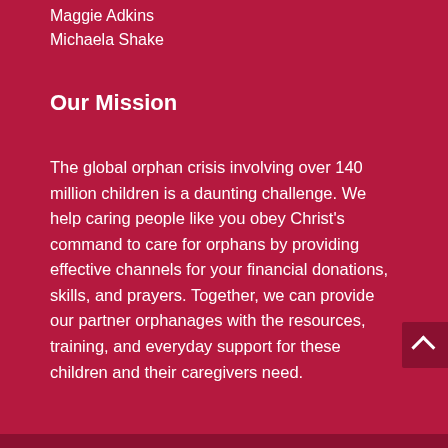Maggie Adkins
Michaela Shake
Our Mission
The global orphan crisis involving over 140 million children is a daunting challenge. We help caring people like you obey Christ's command to care for orphans by providing effective channels for your financial donations, skills, and prayers. Together, we can provide our partner orphanages with the resources, training, and everyday support for these children and their caregivers need.